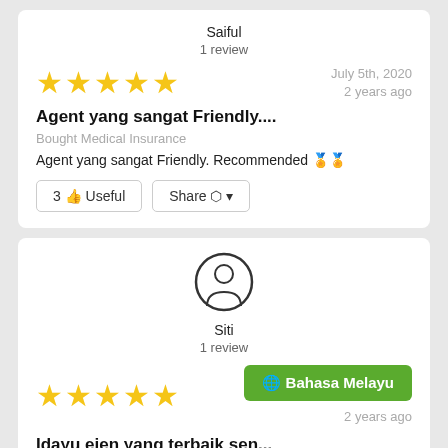Saiful
1 review
[Figure (other): 5 yellow stars rating]
July 5th, 2020
2 years ago
Agent yang sangat Friendly....
Bought Medical Insurance
Agent yang sangat Friendly. Recommended 🏅🏅
3 👍 Useful
Share
[Figure (illustration): User avatar circle icon for Siti]
Siti
1 review
[Figure (other): 5 yellow stars rating]
🌐 Bahasa Melayu
2 years ago
Idayu ejen yang terbaik sen...